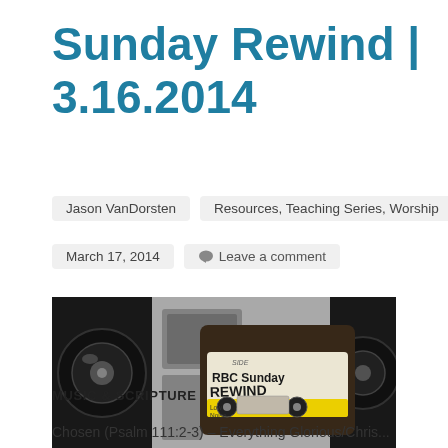Sunday Rewind | 3.16.2014
Jason VanDorsten
Resources, Teaching Series, Worship
March 17, 2014
Leave a comment
[Figure (photo): RBC Sunday Rewind cassette tape image with speakers in background, labeled 'RBC Sunday REWIND', 'SIDE', 'Low Noise']
MUSIC & SCRIPTURE
Chosen (Psalm 111:2-3) – Everything Glorious/Chris...